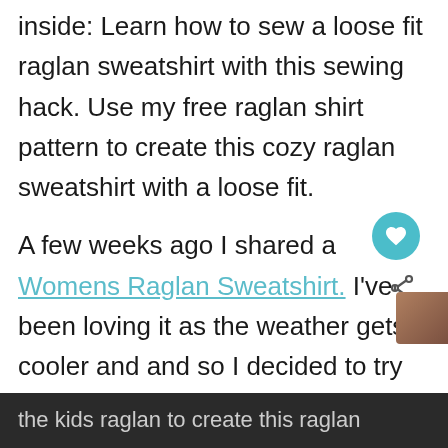inside: Learn how to sew a loose fit raglan sweatshirt with this sewing hack. Use my free raglan shirt pattern to create this cozy raglan sweatshirt with a loose fit.
A few weeks ago I shared a Womens Raglan Sweatshirt. I've been loving it as the weather gets cooler and and so I decided to try and create the same look for my daughter with the already existing kids raglan shirt free pattern. I was able to use the kids raglan to create this raglan